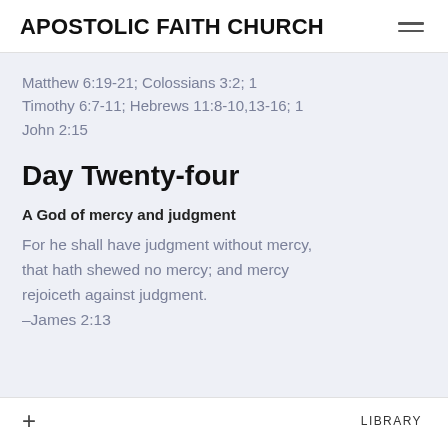APOSTOLIC FAITH CHURCH
Matthew 6:19-21; Colossians 3:2; 1 Timothy 6:7-11; Hebrews 11:8-10,13-16; 1 John 2:15
Day Twenty-four
A God of mercy and judgment
For he shall have judgment without mercy, that hath shewed no mercy; and mercy rejoiceth against judgment.
–James 2:13
+ LIBRARY